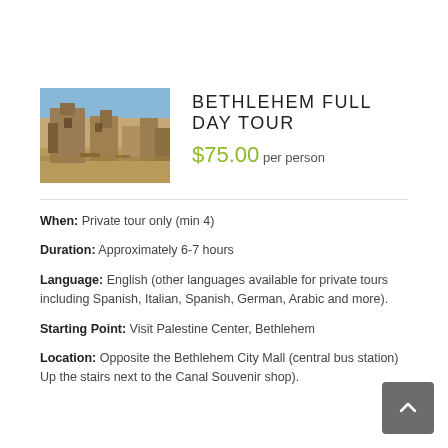[Figure (photo): Photo of ancient stone ruins in Bethlehem under a blue sky]
BETHLEHEM FULL DAY TOUR
$75.00 per person
When: Private tour only (min 4)
Duration: Approximately 6-7 hours
Language: English (other languages available for private tours including Spanish, Italian, Spanish, German, Arabic and more).
Starting Point: Visit Palestine Center, Bethlehem
Location: Opposite the Bethlehem City Mall (central bus station) Up the stairs next to the Canal Souvenir shop).